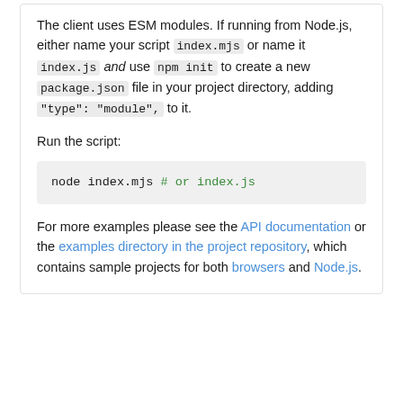The client uses ESM modules. If running from Node.js, either name your script index.mjs or name it index.js and use npm init to create a new package.json file in your project directory, adding "type": "module", to it.
Run the script:
node index.mjs # or index.js
For more examples please see the API documentation or the examples directory in the project repository, which contains sample projects for both browsers and Node.js.